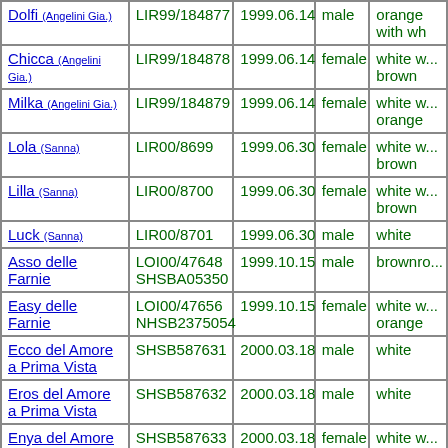| Name | Registration | Date | Sex | Color |
| --- | --- | --- | --- | --- |
| Dolfi (Angelini Gia.) | LIR99/184877 | 1999.06.14 | male | orange with wh... |
| Chicca (Angelini Gia.) | LIR99/184878 | 1999.06.14 | female | white w... brown |
| Milka (Angelini Gia.) | LIR99/184879 | 1999.06.14 | female | white w... orange |
| Lola (Sanna) | LIR00/8699 | 1999.06.30 | female | white w... brown |
| Lilla (Sanna) | LIR00/8700 | 1999.06.30 | female | white w... brown |
| Luck (Sanna) | LIR00/8701 | 1999.06.30 | male | white |
| Asso delle Farnie | LOI00/47648 SHSBA05350 | 1999.10.15 | male | brownro... |
| Easy delle Farnie | LOI00/47656 NHSB2375054 | 1999.10.15 | female | white w... orange |
| Ecco del Amore a Prima Vista | SHSB587631 | 2000.03.18 | male | white |
| Eros del Amore a Prima Vista | SHSB587632 | 2000.03.18 | male | white |
| Enya del Amore a Prima Vista | SHSB587633 | 2000.03.18 | female | white w... brown |
| Evita del Amore a | SHSB587634 | 2000.03.18 | female | white w... |